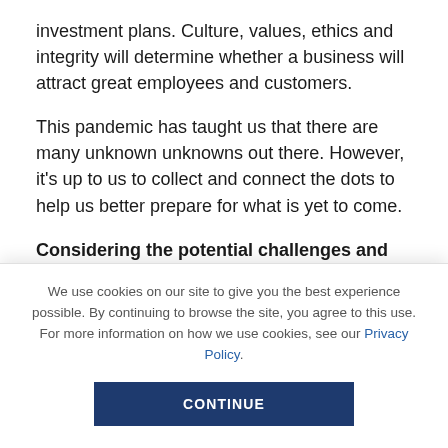investment plans. Culture, values, ethics and integrity will determine whether a business will attract great employees and customers.
This pandemic has taught us that there are many unknown unknowns out there. However, it’s up to us to collect and connect the dots to help us better prepare for what is yet to come.
Considering the potential challenges and opportunities in the Post-Covid economy, what do
We use cookies on our site to give you the best experience possible. By continuing to browse the site, you agree to this use. For more information on how we use cookies, see our Privacy Policy.
CONTINUE